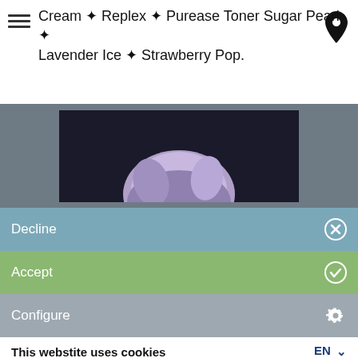Cream ✦ Replex ✦ Purease Toner Sugar Pearl ✦ Lavender Ice ✦ Strawberry Pop.
[Figure (photo): Partial photo of a person with light purple/lavender hair on dark background, shown inside a gray-framed panel]
Decline
Accept
Configure
This webstite uses cookies
We use, without your consent, cookies necessary for the processing of statistical and technical analyzes for the use of the site. By closing the Cookie Banner, using the "X" symbol or denying consent. you will continue to browse in the absence of profiling /
[Figure (logo): Blue C with green checkmark logo]
Cookie Policy, last update 21/09/2021